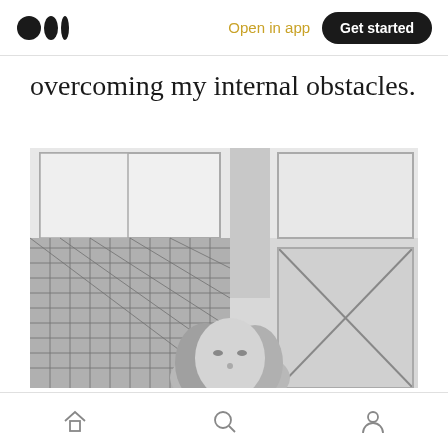Medium logo | Open in app | Get started
overcoming my internal obstacles.
[Figure (photo): Black and white photograph of a woman with long blonde hair looking up at the camera, with patterned metal mesh windows and bright windows in the background.]
Home | Search | Profile